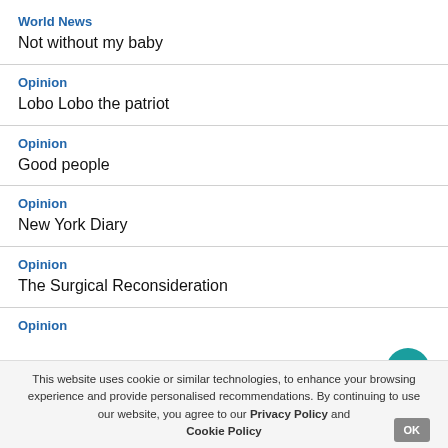World News
Not without my baby
Opinion
Lobo Lobo the patriot
Opinion
Good people
Opinion
New York Diary
Opinion
The Surgical Reconsideration
Opinion
This website uses cookie or similar technologies, to enhance your browsing experience and provide personalised recommendations. By continuing to use our website, you agree to our Privacy Policy and Cookie Policy